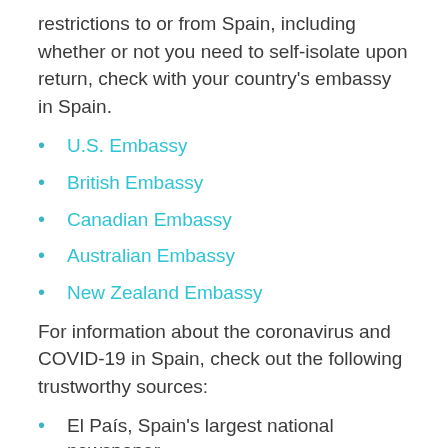restrictions to or from Spain, including whether or not you need to self-isolate upon return, check with your country's embassy in Spain.
U.S. Embassy
British Embassy
Canadian Embassy
Australian Embassy
New Zealand Embassy
For information about the coronavirus and COVID-19 in Spain, check out the following trustworthy sources:
El País, Spain's largest national newspaper